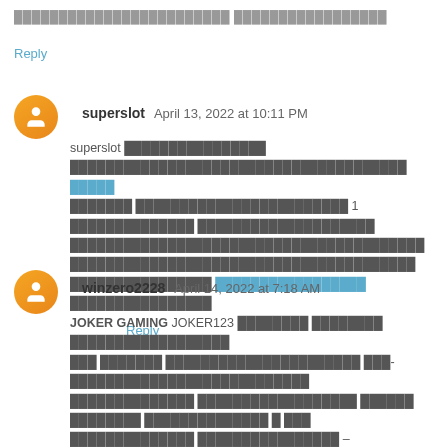Thai placeholder text (top comment continuation)
Reply
superslot April 13, 2022 at 10:11 PM
superslot [Thai text] [Thai text] [blue link Thai] [Thai text] 1 [Thai text] [Thai text] [Thai text] [blue link Thai] [Thai text]
Reply
winzero2228 April 14, 2022 at 7:18 AM
JOKER GAMING JOKER123 [Thai text] [Thai text] [Thai text] [Thai text] [Thai text] [Thai text] [Thai text] – [Thai text]
Reply